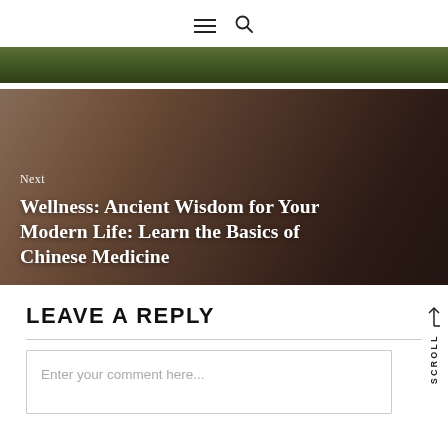≡ 🔍
[Figure (photo): Partial dark green foliage strip at the top of the page, cut off]
[Figure (photo): Woman lying down with long dark hair spread out, warm sepia tones, overlaid with navigation text 'Next' and article title]
Next
Wellness: Ancient Wisdom for Your Modern Life: Learn the Basics of Chinese Medicine
LEAVE A REPLY
Enter your comment here...